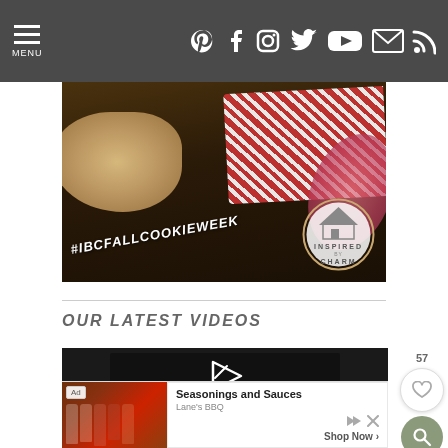MENU | Pinterest Facebook Instagram Twitter YouTube Email RSS
[Figure (photo): Hero banner image with #IBCFALLCOOKIEWEEK hashtag text, red and white floral fabric, and Inspired by Charm logo badge on dark wooden background]
OUR LATEST VIDEOS
[Figure (screenshot): Video player showing error message: The video cannot be played in this browser. (Error Code: 242632)]
Ad — Seasonings and Sauces — Lane's BBQ — Shop Now